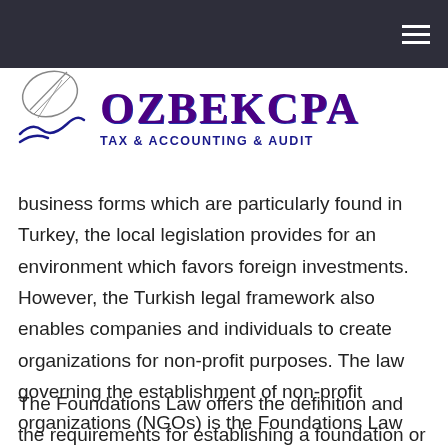[Figure (logo): OzbekCPA Tax & Accounting & Audit logo with stylized pen/quill icon and company name in purple serif font]
business forms which are particularly found in Turkey, the local legislation provides for an environment which favors foreign investments. However, the Turkish legal framework also enables companies and individuals to create organizations for non-profit purposes. The law governing the establishment of non-profit organizations (NGOs) is the Foundations Law which was enabled in 2008.
The Foundations Law offers the definition and the requirements for establishing a foundation or an